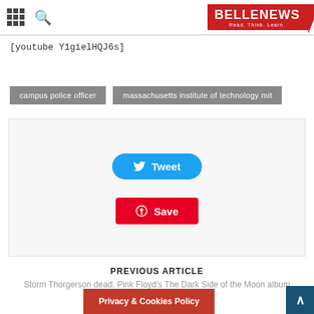BELLENEWS
[youtube Y1gielHQJ6s]
campus police officer
massachusetts institute of technology mit
[Figure (screenshot): Social share buttons: Tweet (blue rounded) and Save/Pinterest (red)]
PREVIOUS ARTICLE
Storm Thorgerson dead: Pink Floyd's The Dark Side of the Moon album design...
Privacy & Cookies Policy